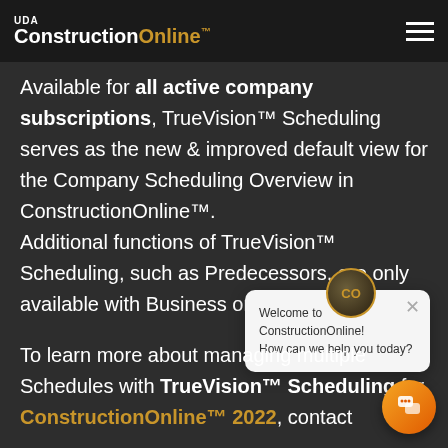UDA ConstructionOnline™
Available for all active company subscriptions, TrueVision™ Scheduling serves as the new & improved default view for the Company Scheduling Overview in ConstructionOnline™. Additional functions of TrueVision™ Scheduling, such as Predecessors, are only available with Business or Enterprise subscriptions.
[Figure (screenshot): Chat widget popup with CO avatar and text: Welcome to ConstructionOnline! How can we help you today?]
To learn more about managing multiple Schedules with TrueVision™ Scheduling for ConstructionOnline™ 2022, contact